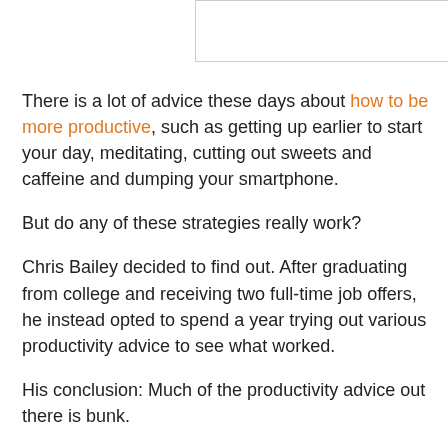[Figure (other): White rectangular box/image placeholder at top of page]
There is a lot of advice these days about how to be more productive, such as getting up earlier to start your day, meditating, cutting out sweets and caffeine and dumping your smartphone.
But do any of these strategies really work?
Chris Bailey decided to find out. After graduating from college and receiving two full-time job offers, he instead opted to spend a year trying out various productivity advice to see what worked.
His conclusion: Much of the productivity advice out there is bunk.
“I interviewed a lot of so-called productivity gurus, but most really aren’t,” he says.
In his new book chronicling his project, Bailey says he found some of the most helpful advice came from successful